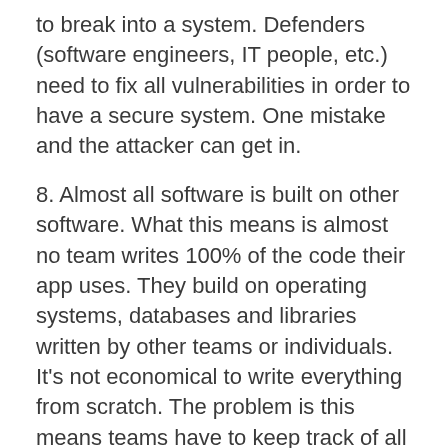to break into a system. Defenders (software engineers, IT people, etc.) need to fix all vulnerabilities in order to have a secure system. One mistake and the attacker can get in.
8. Almost all software is built on other software. What this means is almost no team writes 100% of the code their app uses. They build on operating systems, databases and libraries written by other teams or individuals. It's not economical to write everything from scratch. The problem is this means teams have to keep track of all of the vulnerabilities in all of these things they use and make sure they patch them. It's also hard because a lot of these products are easy to use insecurely. Examples include using easy to guess passwords (i.e. 12345, QWERTY, password, etc.), SQL injection vulnerabilities and data deserialization vulnerably (JSON, XML and binary), etc. The